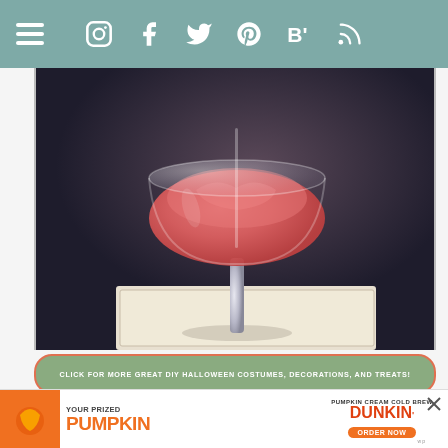Navigation bar with hamburger menu and social icons: Instagram, Facebook, Twitter, Pinterest, Bloglovin, RSS
[Figure (photo): Close-up photo of a pink/rose-colored cocktail in a coupe glass, placed on a white book, against a dark gray background. The drink appears to be a Halloween brain cocktail.]
CLICK FOR MORE GREAT DIY HALLOWEEN COSTUMES, DECORATIONS, AND TREATS!
think Halloween is one of the best holidays, if for no other reason than the fact that you get to act like a kid without feeling too ridiculous. Horror movies are my hands-down favorite, too, so I love the opportunity to get to make s-ary, creepy crafts, like these cocktails — little brains floating in "formaldehyde" (white wine or white grape juice)!
Since this recipe uses agar-agar for the floating brains instead of gelatin, it's vegetarian-friendly! You can get agar-agar at an Asian grocery or on Amazon (enough to make several recipes) if you don't have one near you. You can find brain molds of various sizes online, but for last-minute recipes, your best bet is
[Figure (screenshot): Advertisement banner for Dunkin' Pumpkin Cream Cold Brew with orange text reading YOUR PRIZED PUMPKIN and ORDER NOW button]